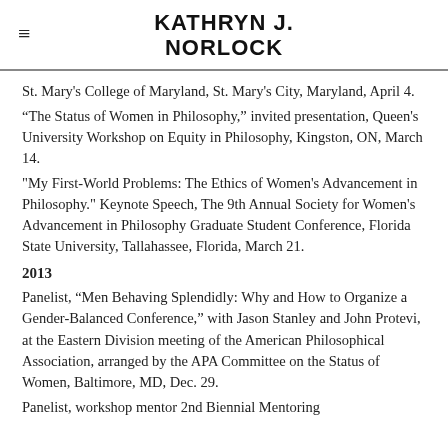KATHRYN J. NORLOCK
St. Mary's College of Maryland, St. Mary's City, Maryland, April 4.
“The Status of Women in Philosophy,” invited presentation, Queen's University Workshop on Equity in Philosophy, Kingston, ON, March 14.
"My First-World Problems: The Ethics of Women's Advancement in Philosophy." Keynote Speech, The 9th Annual Society for Women's Advancement in Philosophy Graduate Student Conference, Florida State University, Tallahassee, Florida, March 21.
2013
Panelist, “Men Behaving Splendidly: Why and How to Organize a Gender-Balanced Conference,” with Jason Stanley and John Protevi, at the Eastern Division meeting of the American Philosophical Association, arranged by the APA Committee on the Status of Women, Baltimore, MD, Dec. 29.
Panelist, workshop mentor 2nd Biennial Mentoring